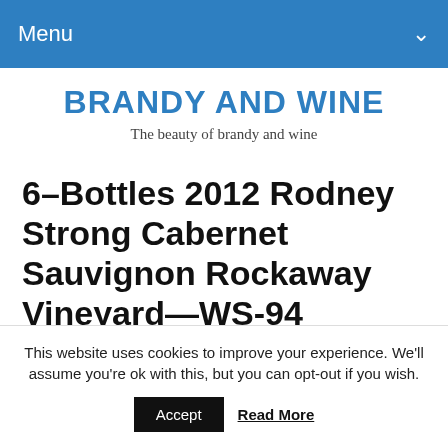Menu
BRANDY AND WINE
The beauty of brandy and wine
6–Bottles 2012 Rodney Strong Cabernet Sauvignon Rockaway Vineyard—WS-94
This website uses cookies to improve your experience. We'll assume you're ok with this, but you can opt-out if you wish.
Accept  Read More